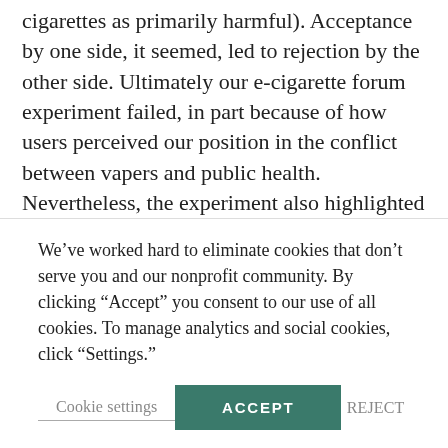cigarettes as primarily harmful). Acceptance by one side, it seemed, led to rejection by the other side. Ultimately our e-cigarette forum experiment failed, in part because of how users perceived our position in the conflict between vapers and public health. Nevertheless, the experiment also highlighted aspects of "carnival spirit" animating the credibility contest between the two opposing sides, and the challenge that vaping advocates have posed to conventional narratives about tobacco and nicotine products. In particular, our encounter with e-cigarette forums also intro­duced us to contested
We've worked hard to eliminate cookies that don't serve you and our nonprofit community. By clicking "Accept" you consent to our use of all cookies. To manage analytics and social cookies, click "Settings."